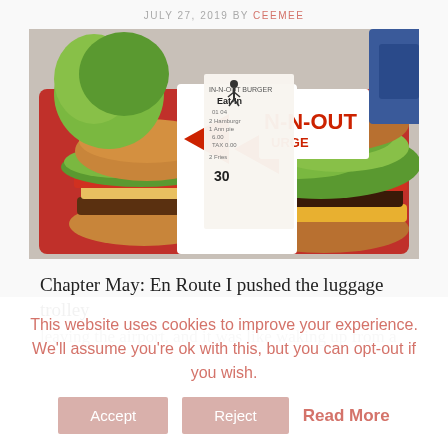JULY 27, 2019 BY CEEMEE
[Figure (photo): Photo of two In-N-Out Burger burgers on a red tray with a receipt visible in the middle showing 'Eat-In' and the number 30]
Chapter May: En Route I pushed the luggage trolley
leaving the airport, and it was like waking up from a
This website uses cookies to improve your experience. We'll assume you're ok with this, but you can opt-out if you wish.